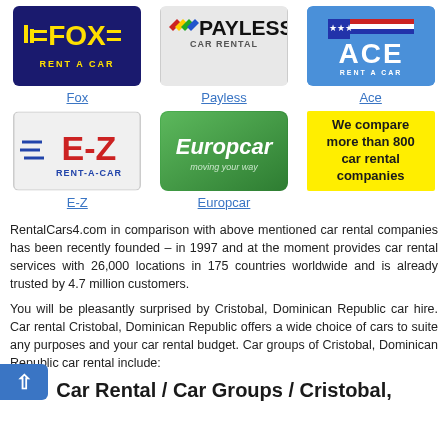[Figure (logo): Fox Rent A Car logo - dark blue background with yellow text]
[Figure (logo): Payless Car Rental logo - gray background with black text and colored chevrons]
[Figure (logo): Ace Rent A Car logo - blue background with white text and American flag motif]
Fox
Payless
Ace
[Figure (logo): E-Z Rent-A-Car logo - light gray background with red E-Z text and blue stripes]
[Figure (logo): Europcar logo - green gradient background with white italic text]
[Figure (infographic): Yellow box with text: We compare more than 800 car rental companies]
E-Z
Europcar
RentalCars4.com in comparison with above mentioned car rental companies has been recently founded – in 1997 and at the moment provides car rental services with 26,000 locations in 175 countries worldwide and is already trusted by 4.7 million customers.
You will be pleasantly surprised by Cristobal, Dominican Republic car hire. Car rental Cristobal, Dominican Republic offers a wide choice of cars to suite any purposes and your car rental budget. Car groups of Cristobal, Dominican Republic car rental include:
Car Rental / Car Groups / Cristobal,